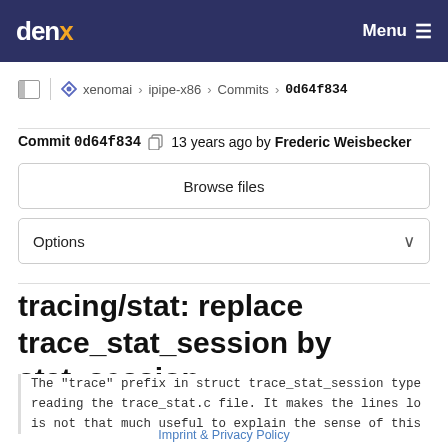denx   Menu
xenomai > ipipe-x86 > Commits > 0d64f834
Commit 0d64f834  13 years ago by Frederic Weisbecker
Browse files
Options
tracing/stat: replace trace_stat_session by stat_session
The "trace" prefix in struct trace_stat_session type reading the trace_stat.c file. It makes the lines lo is not that much useful to explain the sense of this
Imprint & Privacy Policy